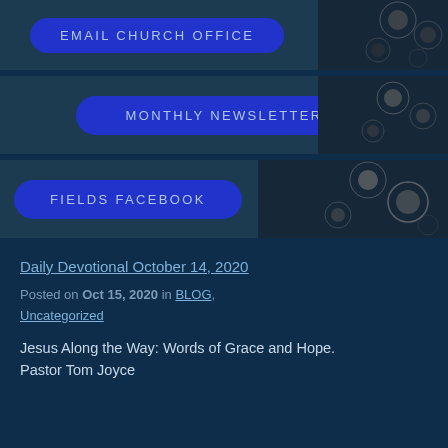[Figure (other): Banner with blue button labeled EMAIL CHURCH OFFICE and dark background with blurred light orbs]
[Figure (other): Banner with blue button labeled MONTHLY NEWSLETTER and dark background with blurred light orbs]
[Figure (other): Banner with blue button labeled FIELDS FACEBOOK and dark background with blurred light orbs]
Daily Devotional October 14, 2020
Posted on Oct 15, 2020 in BLOG, Uncategorized
Jesus Along the Way: Words of Grace and Hope.                Pastor Tom Joyce